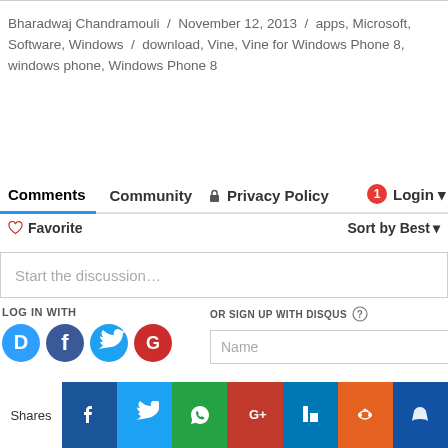Bharadwaj Chandramouli / November 12, 2013 / apps, Microsoft, Software, Windows / download, Vine, Vine for Windows Phone 8, windows phone, Windows Phone 8
Comments  Community  Privacy Policy  Login
Favorite  Sort by Best
Start the discussion…
LOG IN WITH
OR SIGN UP WITH DISQUS
Name
Shares